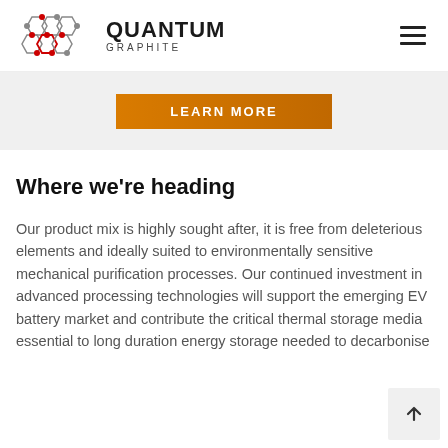QUANTUM GRAPHITE
[Figure (logo): Quantum Graphite logo with hexagonal molecular structure icon in red and gray, text QUANTUM GRAPHITE]
[Figure (illustration): Orange/amber LEARN MORE button]
Where we're heading
Our product mix is highly sought after, it is free from deleterious elements and ideally suited to environmentally sensitive mechanical purification processes. Our continued investment in advanced processing technologies will support the emerging EV battery market and contribute the critical thermal storage media essential to long duration energy storage needed to decarbonise